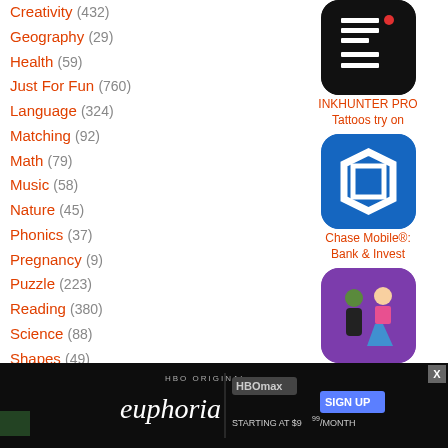Creativity (432)
Geography (29)
Health (59)
Just For Fun (760)
Language (324)
Matching (92)
Math (79)
Music (58)
Nature (45)
Phonics (37)
Pregnancy (9)
Puzzle (223)
Reading (380)
Science (88)
Shapes (49)
Social (264)
Sounds (80)
Special Needs (49)
Spelling (30)
Stories (327)
Time (6)
Sponsored Links
Sponsored Links
Uncategorized ...ies
[Figure (screenshot): INKHUNTER PRO app icon — black background with white grid/table icon and red dot]
INKHUNTER PRO Tattoos try on
[Figure (screenshot): Chase Mobile app icon — blue background with white Chase octagon logo]
Chase Mobile®: Bank & Invest
[Figure (screenshot): Popular Girls app icon — purple background showing two cartoon teen girls]
Popular Girls
[Figure (screenshot): mm+ app icon — orange background with mm+ text]
[Figure (screenshot): HBO Max euphoria ad banner — dark background with Euphoria text and HBO Max sign up promotion]